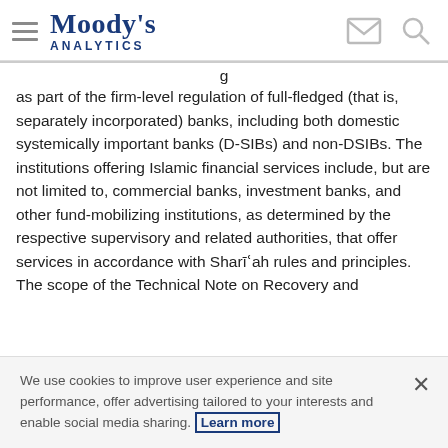Moody's Analytics
as part of the firm-level regulation of full-fledged (that is, separately incorporated) banks, including both domestic systemically important banks (D-SIBs) and non-DSIBs. The institutions offering Islamic financial services include, but are not limited to, commercial banks, investment banks, and other fund-mobilizing institutions, as determined by the respective supervisory and related authorities, that offer services in accordance with Sharīʿah rules and principles. The scope of the Technical Note on Recovery and
We use cookies to improve user experience and site performance, offer advertising tailored to your interests and enable social media sharing. Learn more